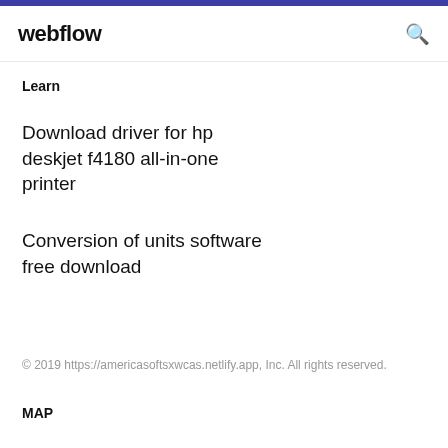webflow
Learn
Download driver for hp deskjet f4180 all-in-one printer
Conversion of units software free download
© 2019 https://americasoftsxwcas.netlify.app, Inc. All rights reserved.
MAP